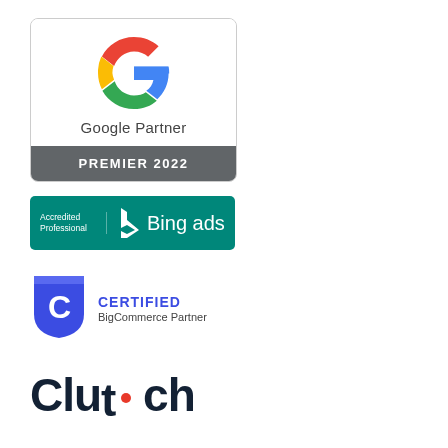[Figure (logo): Google Partner Premier 2022 badge with Google G logo and gray Premier 2022 banner]
[Figure (logo): Bing Ads Accredited Professional badge on teal background]
[Figure (logo): Certified BigCommerce Partner badge with blue shield icon]
[Figure (logo): Clutch logo in dark navy with red dot in the letter t]